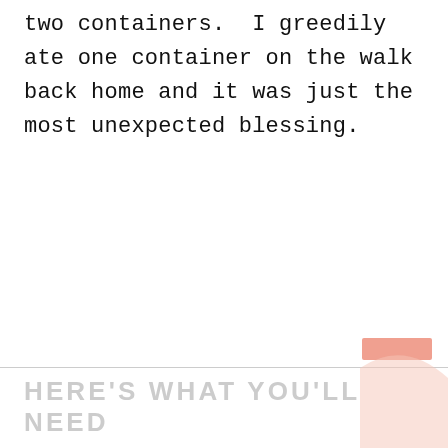two containers.  I greedily ate one container on the walk back home and it was just the most unexpected blessing.
HERE'S WHAT YOU'LL NEED